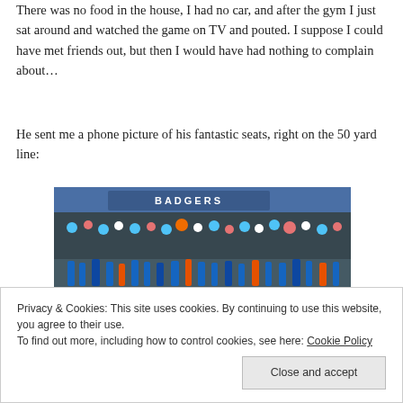There was no food in the house, I had no car, and after the gym I just sat around and watched the game on TV and pouted. I suppose I could have met friends out, but then I would have had nothing to complain about…
He sent me a phone picture of his fantastic seats, right on the 50 yard line:
[Figure (photo): Photo of a football stadium field sideline area, showing players and staff along the sideline with the green field visible, taken from field level near the 50 yard line.]
Privacy & Cookies: This site uses cookies. By continuing to use this website, you agree to their use.
To find out more, including how to control cookies, see here: Cookie Policy